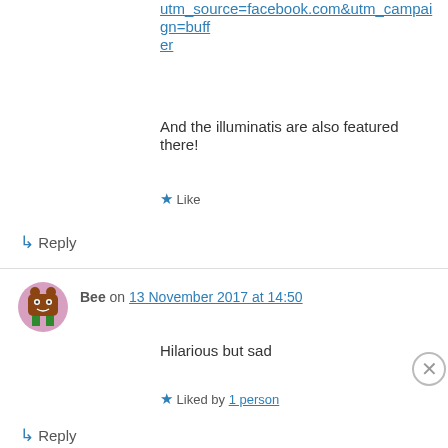utm_source=facebook.com&utm_campaign=buffer
And the illuminatis are also featured there!
★ Like
↳ Reply
Bee on 13 November 2017 at 14:50
Hilarious but sad
★ Liked by 1 person
↳ Reply
Advertisements
[Figure (other): DuckDuckGo advertisement banner: 'Search, browse, and email with more privacy. All in One Free App' on orange background with DuckDuckGo logo on dark right panel]